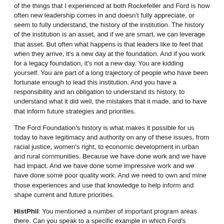of the things that I experienced at both Rockefeller and Ford is how often new leadership comes in and doesn't fully appreciate, or seem to fully understand, the history of the institution. The history of the institution is an asset, and if we are smart, we can leverage that asset. But often what happens is that leaders like to feel that when they arrive, it's a new day at the foundation. And if you work for a legacy foundation, it's not a new day. You are kidding yourself. You are part of a long trajectory of people who have been fortunate enough to lead this institution. And you have a responsibility and an obligation to understand its history, to understand what it did well, the mistakes that it made, and to have that inform future strategies and priorities.
The Ford Foundation's history is what makes it possible for us today to have legitimacy and authority on any of these issues, from racial justice, women's right, to economic development in urban and rural communities. Because we have done work and we have had impact. And we have done some impressive work and we have done some poor quality work. And we need to own and mine those experiences and use that knowledge to help inform and shape current and future priorities.
HistPhil: You mentioned a number of important program areas there. Can you speak to a specific example in which Ford's archives and its past has informed your thinking about contemporary programming?